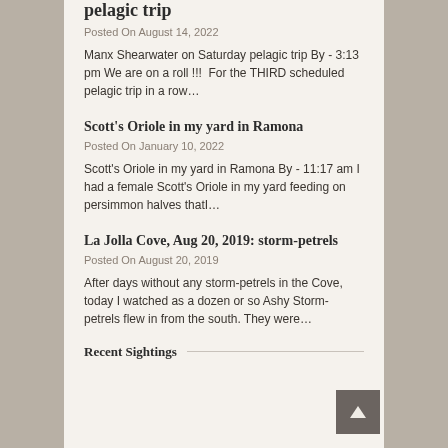pelagic trip
Posted On August 14, 2022
Manx Shearwater on Saturday pelagic trip By - 3:13 pm We are on a roll !!!  For the THIRD scheduled pelagic trip in a row…
Scott's Oriole in my yard in Ramona
Posted On January 10, 2022
Scott's Oriole in my yard in Ramona By - 11:17 am I had a female Scott's Oriole in my yard feeding on persimmon halves thatI…
La Jolla Cove, Aug 20, 2019: storm-petrels
Posted On August 20, 2019
After days without any storm-petrels in the Cove, today I watched as a dozen or so Ashy Storm-petrels flew in from the south. They were…
Recent Sightings